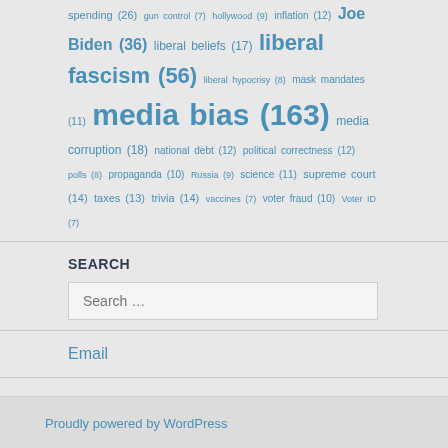spending (26) gun control (7) hollywood (9) inflation (12) Joe Biden (36) liberal beliefs (17) liberal fascism (56) liberal hypocrisy (8) mask mandates (11) media bias (163) media corruption (18) national debt (12) political correctness (12) polls (8) propaganda (10) Russia (9) science (11) supreme court (14) taxes (13) trivia (14) vaccines (7) voter fraud (10) Voter ID (7)
SEARCH
Search ...
Email
Proudly powered by WordPress